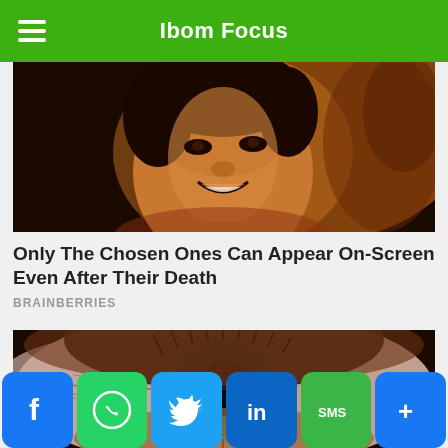Ibom Focus
[Figure (photo): Close-up photo of a smiling Asian man, warm brown/golden tones, dramatic lighting]
Only The Chosen Ones Can Appear On-Screen Even After Their Death
BRAINBERRIES
[Figure (photo): Extreme close-up macro photo of a human eye with a teal/green iris, showing detailed textures and a dark forest reflected in the pupil]